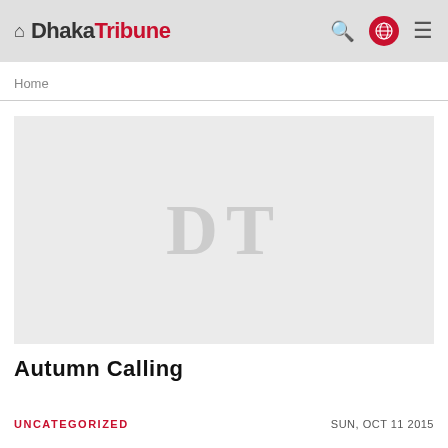Dhaka Tribune
Home
[Figure (other): Placeholder image with DT watermark text in light gray on gray background]
Autumn Calling
UNCATEGORIZED
SUN, OCT 11 2015